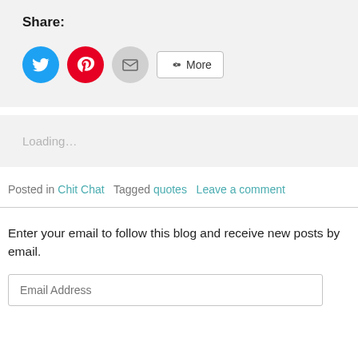Share:
[Figure (infographic): Social share buttons: Twitter (blue circle), Pinterest (red circle), Email (gray circle), and a More button with share icon]
Loading…
Posted in Chit Chat   Tagged quotes   Leave a comment
Enter your email to follow this blog and receive new posts by email.
Email Address